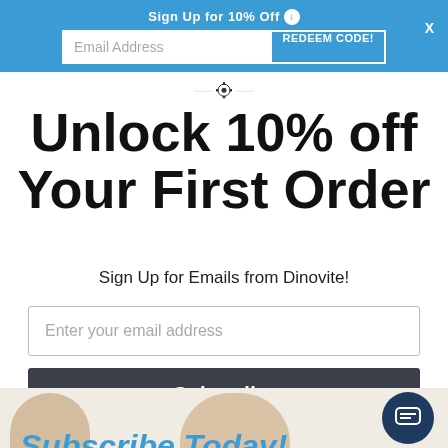Sign Up for 10% Off
[Figure (screenshot): Email address input field with 'REDEEM CODE!' button inside a blue banner]
[Figure (logo): Dinovite gear/cog logo mark]
Unlock 10% off Your First Order
Sign Up for Emails from Dinovite!
Enter your email address
Subscribe
Subscribe Today!
[Figure (photo): Partial view of dogs at the bottom of the page]
[Figure (other): Chat support bubble icon in dark blue circle]